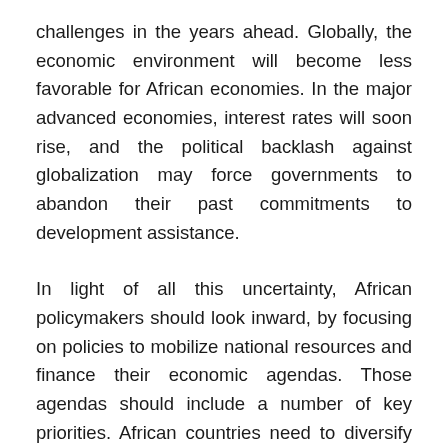challenges in the years ahead. Globally, the economic environment will become less favorable for African economies. In the major advanced economies, interest rates will soon rise, and the political backlash against globalization may force governments to abandon their past commitments to development assistance.
In light of all this uncertainty, African policymakers should look inward, by focusing on policies to mobilize national resources and finance their economic agendas. Those agendas should include a number of key priorities. African countries need to diversify their economies to withstand future shocks better, while also accelerating the pace of industrialization across the continent. Governments will have to find a way to create decent jobs for the 11 million people now entering the region's labor force every year. And they will need to enact policies to reduce poverty, and ensure that prosperity is shared across all